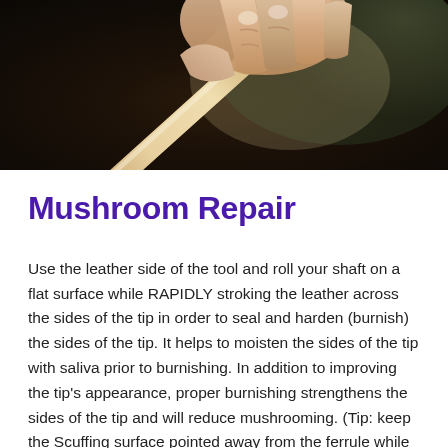[Figure (photo): Close-up photograph of a hand holding a wooden billiard cue shaft or stick, with fingers gripping it from above, against a dark blurred background]
Mushroom Repair
Use the leather side of the tool and roll your shaft on a flat surface while RAPIDLY stroking the leather across the sides of the tip in order to seal and harden (burnish) the sides of the tip. It helps to moisten the sides of the tip with saliva prior to burnishing. In addition to improving the tip's appearance, proper burnishing strengthens the sides of the tip and will reduce mushrooming. (Tip: keep the Scuffing surface pointed away from the ferrule while working)